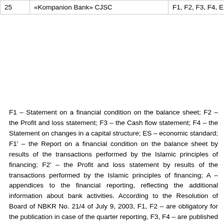|  |  |  |
| --- | --- | --- |
| 25 | «Kompanion Bank» CJSC | F1, F2, F3, F4, E |
F1 – Statement on a financial condition on the balance sheet; F2 – the Profit and loss statement; F3 – the Cash flow statement; F4 – the Statement on changes in a capital structure; ES – economic standard; F1' – the Report on a financial condition on the balance sheet by results of the transactions performed by the Islamic principles of financing; F2' – the Profit and loss statement by results of the transactions performed by the Islamic principles of financing; A – appendices to the financial reporting, reflecting the additional information about bank activities. According to the Resolution of Board of NBKR No. 21/4 of July 9, 2003, F1, F2 – are obligatory for the publication in case of the quarter reporting, F3, F4 – are published at the discretion of bank.